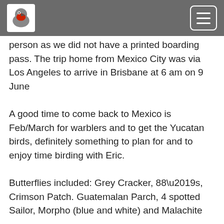[Bird logo] [Hamburger menu button]
person as we did not have a printed boarding pass. The trip home from Mexico City was via Los Angeles to arrive in Brisbane at 6 am on 9 June
A good time to come back to Mexico is Feb/March for warblers and to get the Yucatan birds, definitely something to plan for and to enjoy time birding with Eric.
Butterflies included: Grey Cracker, 88’s, Crimson Patch. Guatemalan Parch, 4 spotted Sailor, Morpho (blue and white) and Malachite
Bird species list total 382 species with 151
Species Lists